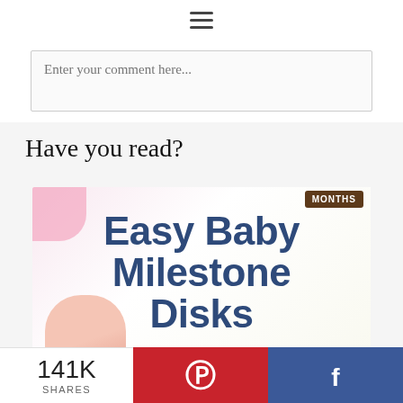☰
Enter your comment here...
Have you read?
[Figure (photo): Promotional image for 'Easy Baby Milestone Disks' article — large bold blue text on light background with pink accent, a hand holding a disk, and a 'MONTHS' badge in the top right corner.]
141K
SHARES